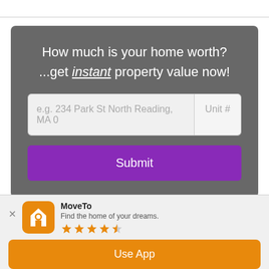[Figure (screenshot): Web widget with dark gray card showing home value prompt, address input field, unit number field, and a purple Submit button]
How much is your home worth?
...get instant property value now!
[Figure (screenshot): App install banner for MoveTo app with orange icon, 4-star rating, and Use App button]
MoveTo
Find the home of your dreams.
Use App